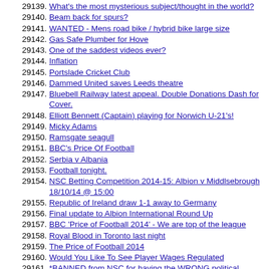29139. What's the most mysterious subject/thought in the world?
29140. Beam back for spurs?
29141. WANTED - Mens road bike / hybrid bike large size
29142. Gas Safe Plumber for Hove
29143. One of the saddest videos ever?
29144. Inflation
29145. Portslade Cricket Club
29146. Dammed United saves Leeds theatre
29147. Bluebell Railway latest appeal. Double Donations Dash for Cover.
29148. Elliott Bennett (Captain) playing for Norwich U-21's!
29149. Micky Adams
29150. Ramsgate seagull
29151. BBC's Price Of Football
29152. Serbia v Albania
29153. Football tonight.
29154. NSC Betting Competition 2014-15: Albion v Middlsebrough 18/10/14 @ 15:00
29155. Republic of Ireland draw 1-1 away to Germany
29156. Final update to Albion International Round Up
29157. BBC 'Price of Football 2014' - We are top of the league
29158. Royal Blood in Toronto last night
29159. The Price of Football 2014
29160. Would You Like To See Player Wages Regulated
29161. *BANNED from NSC for having the WRONG political VIEWS*
29162. These are the 70 most searched for thread tags......
29163. Gordon Greer - Rock Star!
29164. Now let me clear this up.